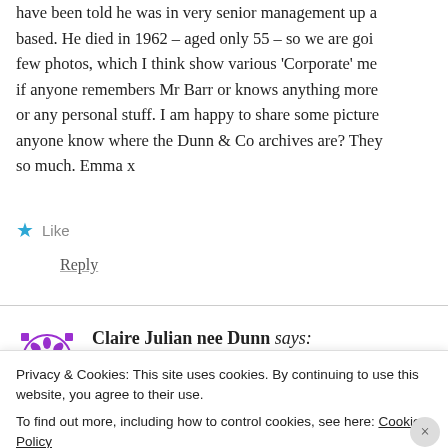have been told he was in very senior management up a based. He died in 1962 – aged only 55 – so we are goi few photos, which I think show various 'Corporate' me if anyone remembers Mr Barr or knows anything more or any personal stuff. I am happy to share some picture anyone know where the Dunn & Co archives are? They so much. Emma x
★ Like
Reply
Claire Julian nee Dunn says:
June 24, 2021 at 12:35 am
Privacy & Cookies: This site uses cookies. By continuing to use this website, you agree to their use.
To find out more, including how to control cookies, see here: Cookie Policy
Close and accept